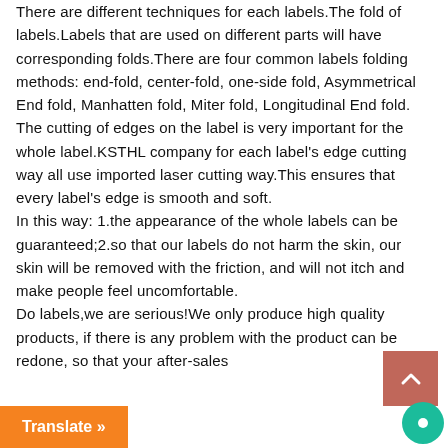There are different techniques for each labels.The fold of labels.Labels that are used on different parts will have corresponding folds.There are four common labels folding methods: end-fold, center-fold, one-side fold, Asymmetrical End fold, Manhatten fold, Miter fold, Longitudinal End fold. The cutting of edges on the label is very important for the whole label.KSTHL company for each label's edge cutting way all use imported laser cutting way.This ensures that every label's edge is smooth and soft.
In this way: 1.the appearance of the whole labels can be guaranteed;2.so that our labels do not harm the skin, our skin will be removed with the friction, and will not itch and make people feel uncomfortable.
Do labels,we are serious!We only produce high quality products, if there is any problem with the product can be redone, so that your after-sales
Translate »